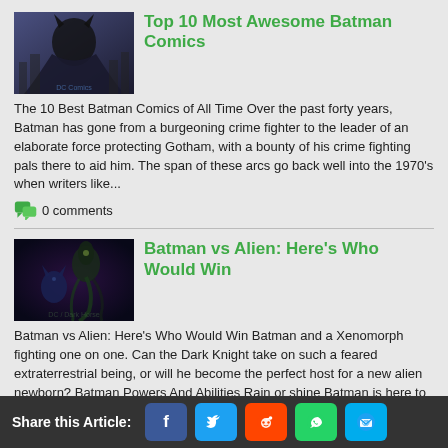Top 10 Most Awesome Batman Comics
The 10 Best Batman Comics of All Time Over the past forty years, Batman has gone from a burgeoning crime fighter to the leader of an elaborate force protecting Gotham, with a bounty of his crime fighting pals there to aid him. The span of these arcs go back well into the 1970's when writers like...
0 comments
Batman vs Alien: Here's Who Would Win
Batman vs Alien: Here's Who Would Win Batman and a Xenomorph fighting one on one. Can the Dark Knight take on such a feared extraterrestrial being, or will he become the perfect host for a new alien newborn? Batman Powers And Abilities Rain or shine Batman is here to save the day...
0 comments
Share this Article: